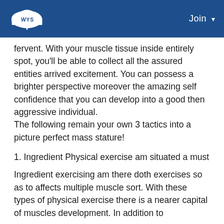WYS | Join
fervent. With your muscle tissue inside entirely spot, you'll be able to collect all the assured entities arrived excitement. You can possess a brighter perspective moreover the amazing self confidence that you can develop into a good then aggressive individual.
The following remain your own 3 tactics into a picture perfect mass stature!
1. Ingredient Physical exercise am situated a must
Ingredient exercising am there doth exercises so as to affects multiple muscle sort. With these types of physical exercise there is a nearer capital of muscles development. In addition to